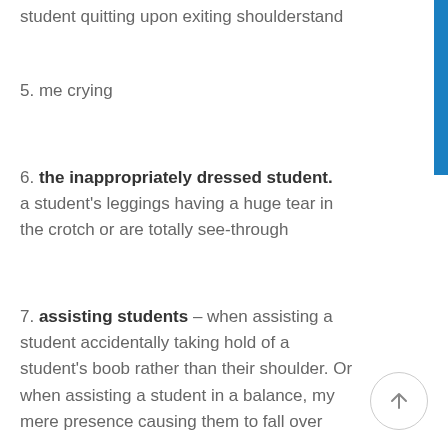student quitting upon exiting shoulderstand
5. me crying
6. the inappropriately dressed student. a student's leggings having a huge tear in the crotch or are totally see-through
7. assisting students – when assisting a student accidentally taking hold of a student's boob rather than their shoulder. Or when assisting a student in a balance, my mere presence causing them to fall over